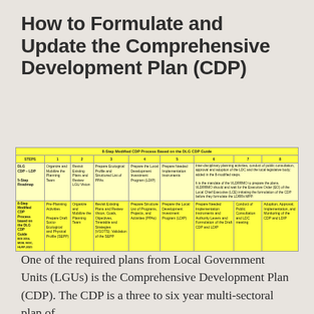How to Formulate and Update the Comprehensive Development Plan (CDP)
| STEPS | 1 | 2 | 3 | 4 | 5 | 6 | 7 | 8 |
| --- | --- | --- | --- | --- | --- | --- | --- | --- |
| DLG CDP – LDP
5-Step Roadmap | Organize and Mobilize the Planning Team | Revisit Existing Plans and Review and LGU Vision | Prepare Ecological Profile and Structured List of PPAs | Prepare the Local Development Investment Program (LDIP) | Prepare Needed Implementation Instruments | Inter-disciplinary planning activities, conduct of public consultation, approval and adoption of the LDC and the local legislative body; added in the 8-modified steps.

It is the mandate of the VLDRRMO to prepare the plans. VLDRRMO should and wait for the Executive Order (EO) of the Local Chief Executive (LCE) initiating the formulation of the CDP before they formulate the LDRRx MPP. |  |  |
| 8-Step Modified CDP Process based on the DLG CDP Guide
BOI 2016, MOB, MOC, HLRP-2021 | Pre-Planning Activities

Prepare Draft Socio-Ecological and Physical Profile (SEPP) | Organize and Mobilize the Planning Team | Revisit Existing Plans and Review Vision, Goals, Objectives, Timetable and Strategies (VGOTS); Validation of the SEPP | Prepare Structure List of Programs, Projects, and Activities (PPAs) | Prepare the Local Development Investment Program (LDIP) | Prepare Needed Implementation Instruments and Authority Levers and Formulation of the Draft CDP and LDIP | Conduct of Public Consultation and LDC meeting | Adoption, Approval, Implementation, and Monitoring of the CDP and LDIP |
One of the required plans from Local Government Units (LGUs) is the Comprehensive Development Plan (CDP). The CDP is a three to six year multi-sectoral plan of